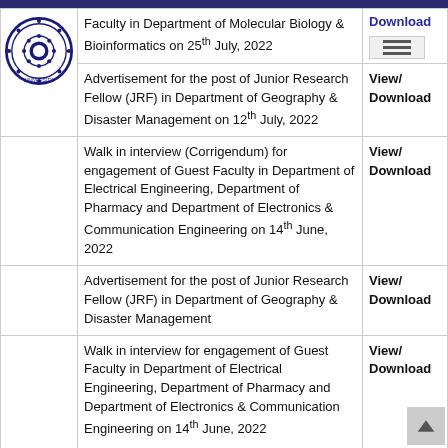University portal header with logo
|  | Description | Link |
| --- | --- | --- |
|  | Faculty in Department of Molecular Biology & Bioinformatics on 25th July, 2022 | Download |
|  | Advertisement for the post of Junior Research Fellow (JRF) in Department of Geography & Disaster Management on 12th July, 2022 | View/
Download |
|  | Walk in interview (Corrigendum) for engagement of Guest Faculty in Department of Electrical Engineering, Department of Pharmacy and Department of Electronics & Communication Engineering on 14th June, 2022 | View/
Download |
|  | Advertisement for the post of Junior Research Fellow (JRF) in Department of Geography & Disaster Management | View/
Download |
|  | Walk in interview for engagement of Guest Faculty in Department of Electrical Engineering, Department of Pharmacy and Department of Electronics & Communication Engineering on 14th June, 2022 | View/
Download |
|  | Advertisement for the post of Project Fellow in the UGC-DAE CSR project in the Dept. of | View/
Download |